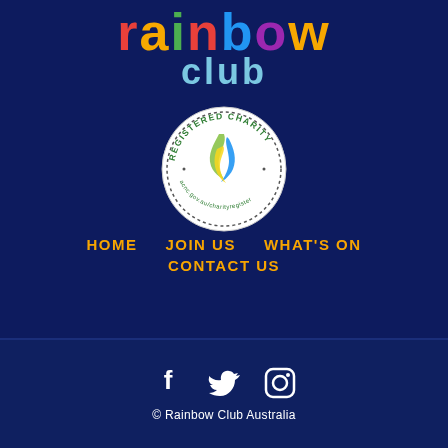[Figure (logo): Rainbow Club logo with colorful letters spelling 'rainbow' and 'club' in teal]
[Figure (logo): ACNC Registered Charity circular badge with green/blue flame logo]
HOME    JOIN US    WHAT'S ON    CONTACT US
[Figure (other): Social media icons: Facebook, Twitter, Instagram]
© Rainbow Club Australia